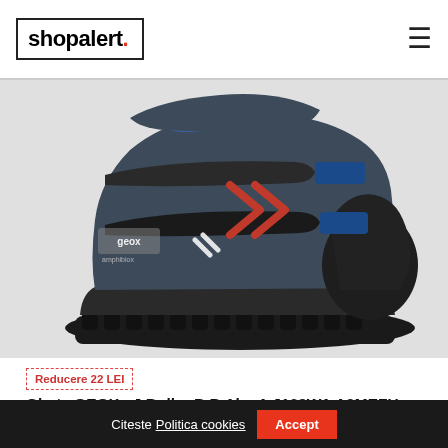shopalert.
[Figure (photo): Close-up photo of a Geox J Buller B.B children's high-top boot in navy/dark grey with red accents, blue highlights, velcro straps, Geox Amphibiox branding on side, and rugged black sole.]
Reducere 22 LEI
Ghete GEOX - J Buller B.B Abx A J169WA A0MEFU C4244 M Navy/Red
Citeste Politica cookies  Accept